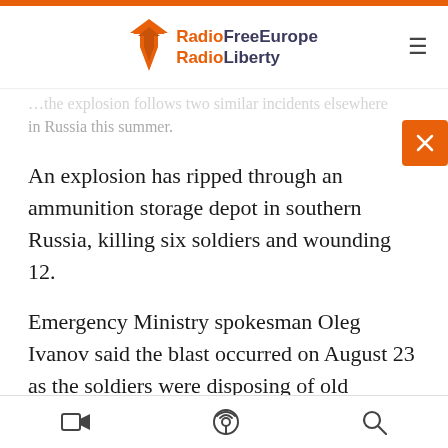RadioFreeEurope RadioLiberty
…the explosion follows two similar incidents elsewhere in Russia this summer.
An explosion has ripped through an ammunition storage depot in southern Russia, killing six soldiers and wounding 12.
Emergency Ministry spokesman Oleg Ivanov said the blast occurred on August 23 as the soldiers were disposing of old munitions on the Ashuluk base in the Astrakhan region.
The explosion followed two major fires at ammunition depots elsewhere in Russia this
navigation icons: video, podcast, search